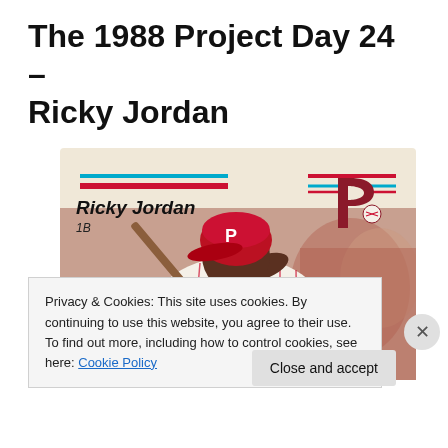The 1988 Project Day 24 – Ricky Jordan
[Figure (photo): A 1988 Topps or Score baseball card featuring Ricky Jordan of the Philadelphia Phillies. The card shows Ricky Jordan in a white Phillies pinstripe uniform swinging a bat, wearing a red Phillies helmet with the 'P' logo. The player's name 'Ricky Jordan' and position '1B' appear in the upper left of the card. The Philadelphia Phillies 'P' logo appears in the upper right corner. The card has a cream/beige background with red and blue stripe accents in the corners.]
Privacy & Cookies: This site uses cookies. By continuing to use this website, you agree to their use.
To find out more, including how to control cookies, see here: Cookie Policy
Close and accept